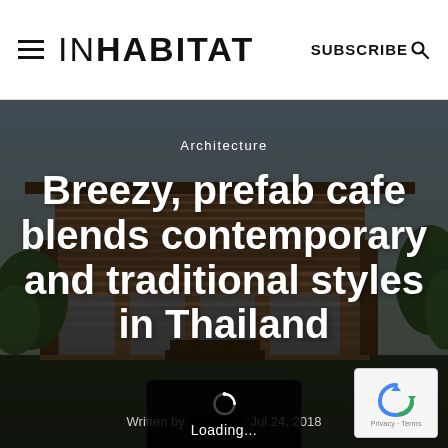INHABITAT   SUBSCRIBE
[Figure (photo): Exterior photo of a modern prefab cafe building in Thailand with timber slat facade, large glass panels, and tropical greenery, used as a hero image background]
Architecture
Breezy, prefab cafe blends contemporary and traditional styles in Thailand
Written by   Jul 24, 2018